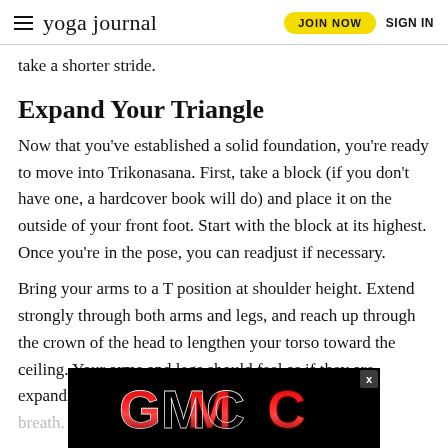yoga journal | JOIN NOW | SIGN IN
take a shorter stride.
Expand Your Triangle
Now that you've established a solid foundation, you're ready to move into Trikonasana. First, take a block (if you don't have one, a hardcover book will do) and place it on the outside of your front foot. Start with the block at its highest. Once you're in the pose, you can readjust if necessary.
Bring your arms to a T position at shoulder height. Extend strongly through both arms and legs, and reach up through the crown of the head to lengthen your torso toward the ceiling. Your arms and legs should feel as if they are expanding out of your co... gh breath. i... d life
[Figure (logo): GMC logo advertisement overlay on black background]